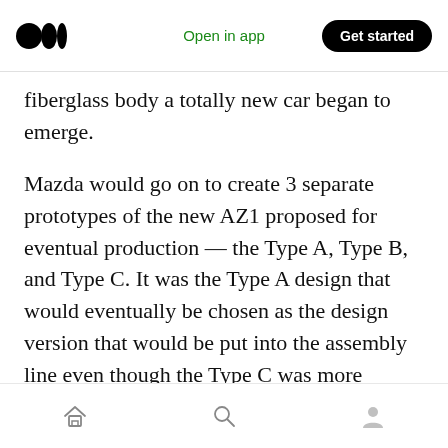Medium logo | Open in app | Get started
fiberglass body a totally new car began to emerge.
Mazda would go on to create 3 separate prototypes of the new AZ1 proposed for eventual production — the Type A, Type B, and Type C. It was the Type A design that would eventually be chosen as the design version that would be put into the assembly line even though the Type C was more widely embraced in the automotive market at the time.
The AZ1 was made available to the public in
Home | Search | Profile